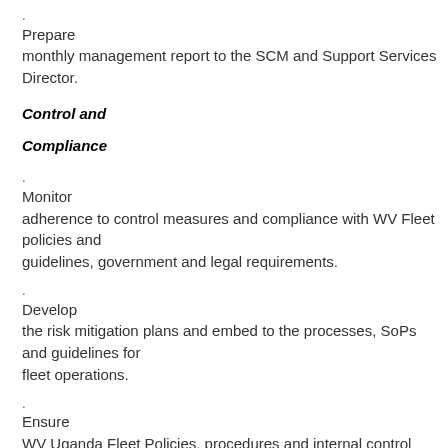. Prepare monthly management report to the SCM and Support Services Director.
Control and Compliance
. Monitor adherence to control measures and compliance with WV Fleet policies and guidelines, government and legal requirements.
. Develop the risk mitigation plans and embed to the processes, SoPs and guidelines for fleet operations.
. Ensure WV Uganda Fleet Policies, procedures and internal control system is